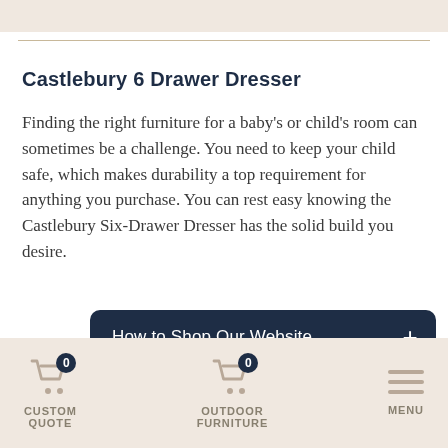Castlebury 6 Drawer Dresser
Finding the right furniture for a baby's or child's room can sometimes be a challenge. You need to keep your child safe, which makes durability a top requirement for anything you purchase. You can rest easy knowing the Castlebury Six-Drawer Dresser has the solid build you desire.
How to Shop Our Website
This dresser is made by Amish artisans here in
CUSTOM QUOTE   OUTDOOR FURNITURE   MENU